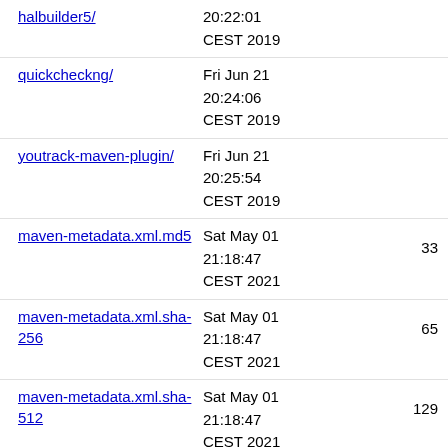halbuilder5/ - 20:22:01 CEST 2019
quickcheckng/ - Fri Jun 21 20:24:06 CEST 2019
youtrack-maven-plugin/ - Fri Jun 21 20:25:54 CEST 2019
maven-metadata.xml.md5 - Sat May 01 21:18:47 CEST 2021 - 33
maven-metadata.xml.sha-256 - Sat May 01 21:18:47 CEST 2021 - 65
maven-metadata.xml.sha-512 - Sat May 01 21:18:47 CEST 2021 - 129
maven-metadata.xml.sha1 - Sat May 01 21:18:47 CEST 2021 - 41